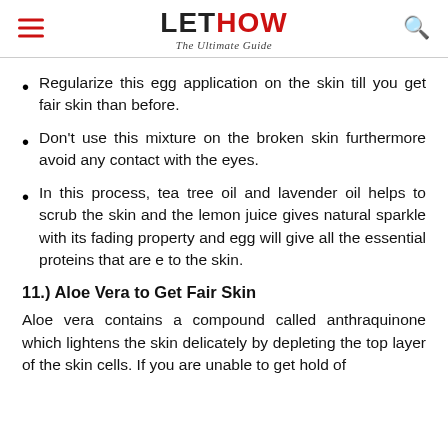LETHOW The Ultimate Guide
Regularize this egg application on the skin till you get fair skin than before.
Don't use this mixture on the broken skin furthermore avoid any contact with the eyes.
In this process, tea tree oil and lavender oil helps to scrub the skin and the lemon juice gives natural sparkle with its fading property and egg will give all the essential proteins that are e to the skin.
11.) Aloe Vera to Get Fair Skin
Aloe vera contains a compound called anthraquinone which lightens the skin delicately by depleting the top layer of the skin cells. If you are unable to get hold of